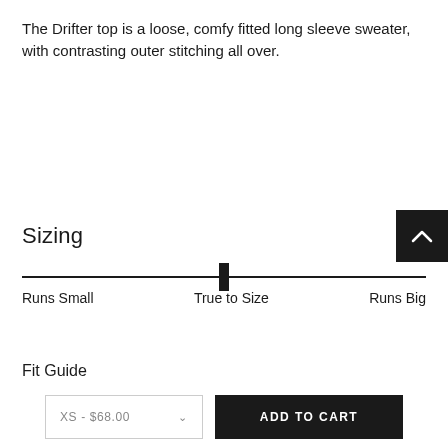The Drifter top is a loose, comfy fitted long sleeve sweater, with contrasting outer stitching all over.
Sizing
[Figure (infographic): A horizontal sizing slider with a thumb positioned at the center (True to Size). Labels below: Runs Small (left), True to Size (center), Runs Big (right).]
Fit Guide
Kiara is wearing Size S
XS - $68.00   ADD TO CART